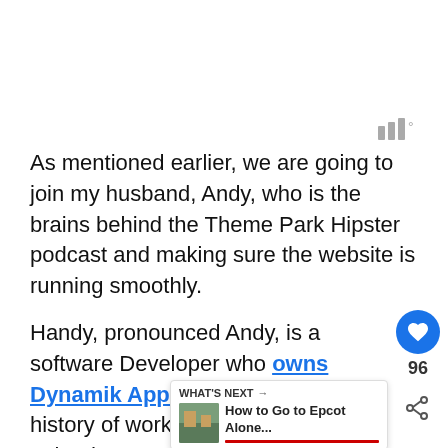[Figure (other): Weather/temperature icon with bars and degree symbol]
As mentioned earlier, we are going to join my husband, Andy, who is the brains behind the Theme Park Hipster podcast and making sure the website is running smoothly.
Handy, pronounced Andy, is a software Developer who owns Dynamik Apps and has a history of working for Universal Orlando Resort when he was in high school.
[Figure (other): UI overlay: heart/like button (96 likes), share button, and 'What's Next' card showing 'How to Go to Epcot Alone...' with thumbnail image]